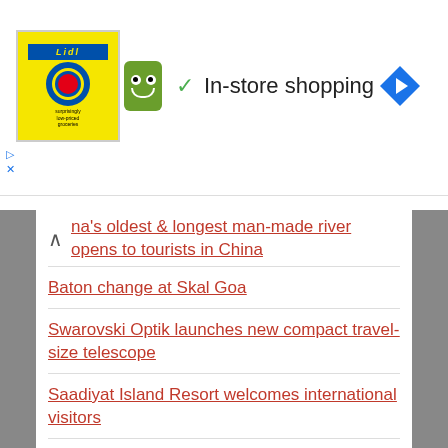[Figure (screenshot): Advertisement banner for Lidl grocery store showing logo, battery/monster icon, green checkmark, 'In-store shopping' text, and Google Maps navigation icon]
na's oldest & longest man-made river opens to tourists in China
Baton change at Skal Goa
Swarovski Optik launches new compact travel-size telescope
Saadiyat Island Resort welcomes international visitors
Novotel Hyderabad Airport appoints new F and B Director
Ranch resort giving away $60K vacation to one deserving family